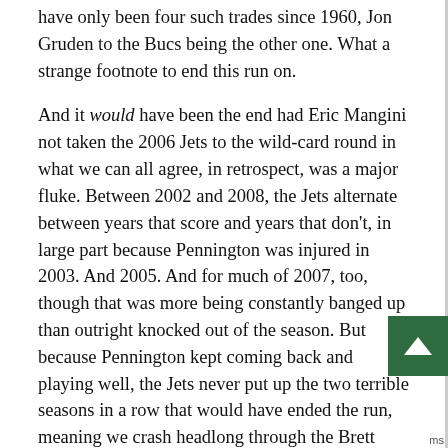have only been four such trades since 1960, Jon Gruden to the Bucs being the other one. What a strange footnote to end this run on.
And it would have been the end had Eric Mangini not taken the 2006 Jets to the wild-card round in what we can all agree, in retrospect, was a major fluke. Between 2002 and 2008, the Jets alternate between years that score and years that don't, in large part because Pennington was injured in 2003. And 2005. And for much of 2007, too, though that was more being constantly banged up than outright knocked out of the season. But because Pennington kept coming back and playing well, the Jets never put up the two terrible seasons in a row that would have ended the run, meaning we crash headlong through the Brett Favre year into the start of Rex Ryan's tenure.